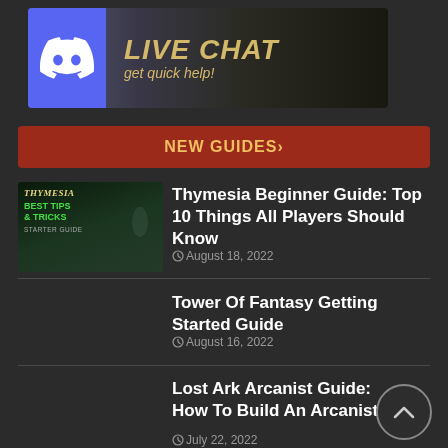[Figure (illustration): Discord Live Chat banner with Discord logo on blue background and text 'LIVE CHAT get quick help!' on dark background]
NEW GUIDES>
[Figure (photo): Thymesia game guide thumbnail with text 'BEST TIPS & TRICKS STARTER GUIDE']
Thymesia Beginner Guide: Top 10 Things All Players Should Know
August 18, 2022
Tower Of Fantasy Getting Started Guide
August 16, 2022
Lost Ark Arcanist Guide: How To Build An Arcanist
July 22, 2022